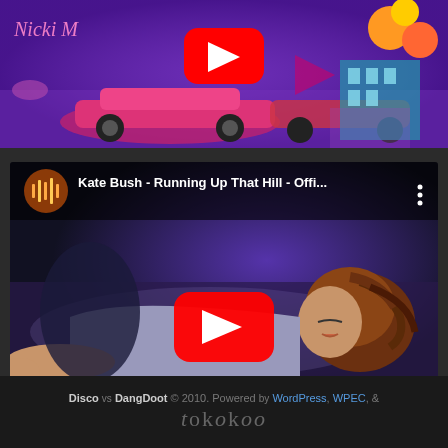[Figure (screenshot): YouTube video thumbnail for Nicki Minaj music video showing colorful 3D animated scene with pink sports car, purple background, fruits, and YouTube play button overlay]
[Figure (screenshot): YouTube video player showing Kate Bush - Running Up That Hill - Official video, with woman lying down and YouTube play button. Header shows channel icon, video title 'Kate Bush - Running Up That Hill - Offi...' and three-dot menu.]
Disco vs DangDoot © 2010. Powered by WordPress, WPEC, & tokokoo